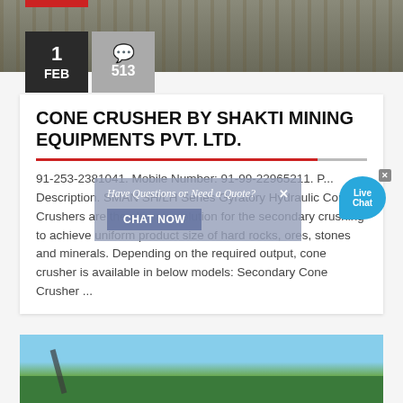[Figure (photo): Industrial machinery/mining equipment photo at top of article with date badge showing '1 FEB' and comment count '513']
CONE CRUSHER BY SHAKTI MINING EQUIPMENTS PVT. LTD.
91-253-2381041. Mobile Number: 91-99-22965211. Product Description. SMAN SH/LH Series Gyratory Hydraulic Cone Crushers are the ultimate solution for the secondary crushing to achieve uniform product size of hard rocks, ores, stones and minerals. Depending on the required output, cone crusher is available in below models: Secondary Cone Crusher ...
[Figure (photo): Mining/quarry site with conveyor belts and open pit, bottom of page]